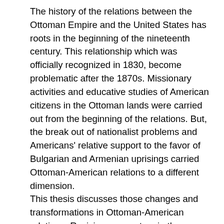The history of the relations between the Ottoman Empire and the United States has roots in the beginning of the nineteenth century. This relationship which was officially recognized in 1830, become problematic after the 1870s. Missionary activities and educative studies of American citizens in the Ottoman lands were carried out from the beginning of the relations. But, the break out of nationalist problems and Americans' relative support to the favor of Bulgarian and Armenian uprisings carried Ottoman-American relations to a different dimension. This thesis discusses those changes and transformations in Ottoman-American relations. Revision parameters in the relations are investigated without ignoring Ottoman foreign policy, the balance of power of the nineteenth century and Empire's relations with the other Great Powers.
The most important result achieved in the research is that Ottoman-American relations were directly connected to American foreign policy preferences. Until